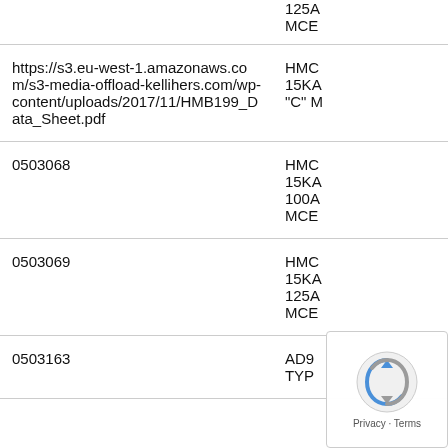|  | 125A
MCE |
| https://s3.eu-west-1.amazonaws.com/s3-media-offload-kellihers.com/wp-content/uploads/2017/11/HMB199_Data_Sheet.pdf | HMC
15KA
"C" M |
| 0503068 | HMC
15KA
100A
MCE |
| 0503069 | HMC
15KA
125A
MCE |
| 0503163 | AD9
TYP |